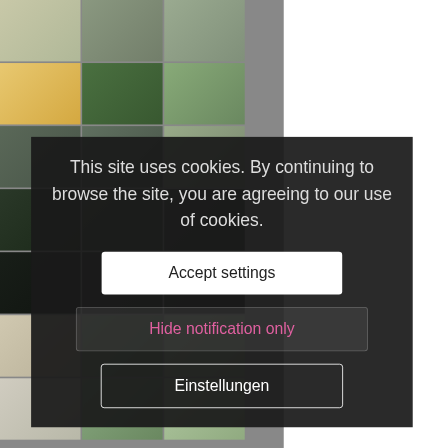[Figure (photo): Wedding photo gallery grid showing flowers, garden scenes, and wedding couple portraits in muted green and warm tones]
This site uses cookies. By continuing to browse the site, you are agreeing to our use of cookies.
Accept settings
Hide notification only
Einstellungen